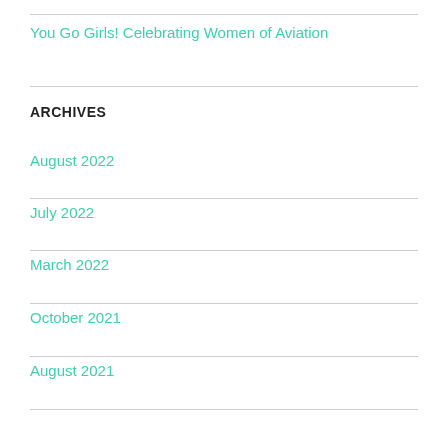You Go Girls! Celebrating Women of Aviation
ARCHIVES
August 2022
July 2022
March 2022
October 2021
August 2021